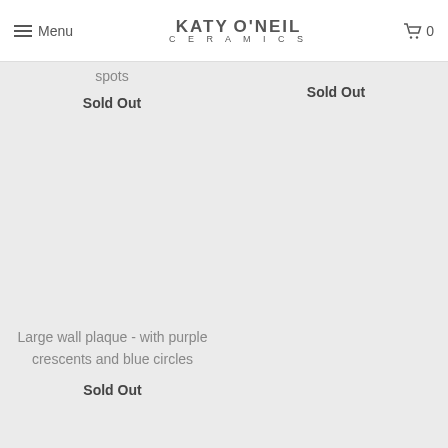Menu | KATY O'NEIL CERAMICS | 0
spots
Sold Out
Sold Out
Large wall plaque - with purple crescents and blue circles
Sold Out